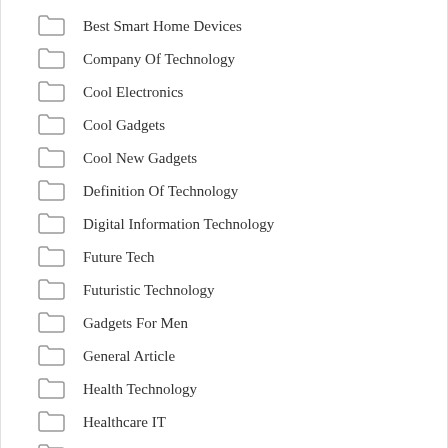Best Smart Home Devices
Company Of Technology
Cool Electronics
Cool Gadgets
Cool New Gadgets
Definition Of Technology
Digital Information Technology
Future Tech
Futuristic Technology
Gadgets For Men
General Article
Health Technology
Healthcare IT
Hi Tech
Hologram Technology
Info Tech